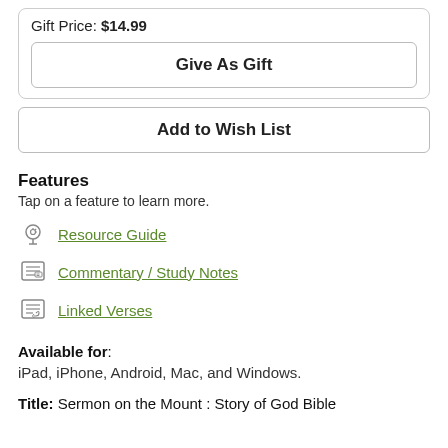Gift Price: $14.99
Give As Gift
Add to Wish List
Features
Tap on a feature to learn more.
Resource Guide
Commentary / Study Notes
Linked Verses
Available for: iPad, iPhone, Android, Mac, and Windows.
Title: Sermon on the Mount : Story of God Bible